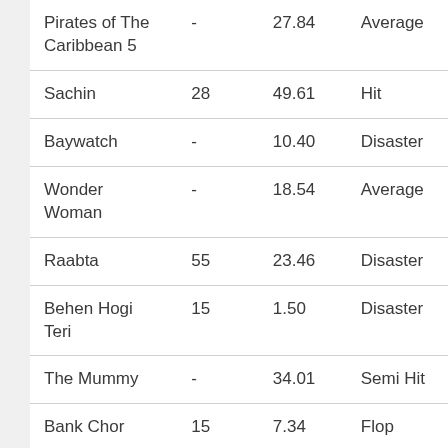| Pirates of The Caribbean 5 | - | 27.84 | Average |
| Sachin | 28 | 49.61 | Hit |
| Baywatch | - | 10.40 | Disaster |
| Wonder Woman | - | 18.54 | Average |
| Raabta | 55 | 23.46 | Disaster |
| Behen Hogi Teri | 15 | 1.50 | Disaster |
| The Mummy | - | 34.01 | Semi Hit |
| Bank Chor | 15 | 7.34 | Flop |